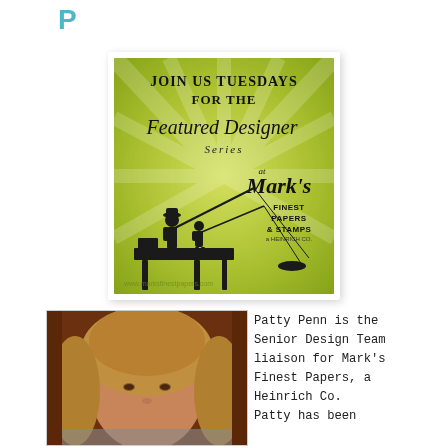P
[Figure (illustration): Promotional banner for Mark's Finest Papers & Stamps Featured Designer Series. Green background with sunburst pattern, text 'Join us Tuesdays for the Featured Designer Series at Mark's Finest Papers & Stamps, a Heinrich Co.' with silhouette of two people fishing on a dock.]
[Figure (photo): Portrait photo of Patty Penn, a woman with blonde hair, against a brown background.]
Patty Penn is the Senior Design Team liaison for Mark's Finest Papers, a Heinrich Co. Patty has been